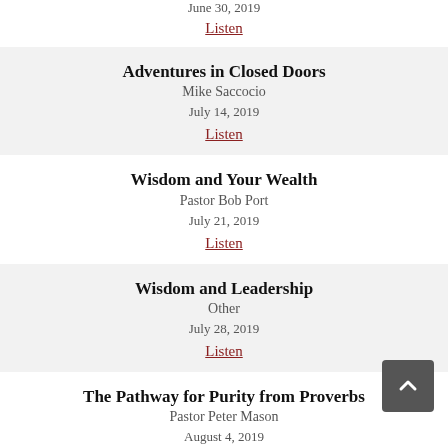June 30, 2019
Listen
Adventures in Closed Doors
Mike Saccocio
July 14, 2019
Listen
Wisdom and Your Wealth
Pastor Bob Port
July 21, 2019
Listen
Wisdom and Leadership
Other
July 28, 2019
Listen
The Pathway for Purity from Proverbs
Pastor Peter Mason
August 4, 2019
Listen